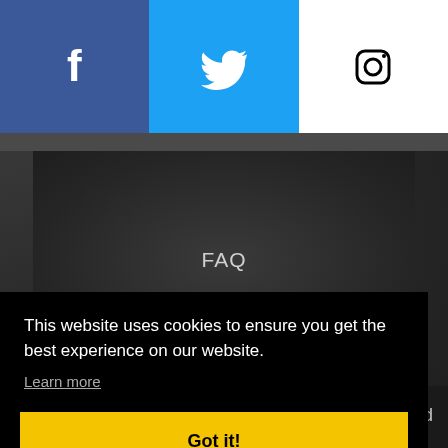[Figure (other): Facebook social media button with white 'f' logo on blue background]
[Figure (other): Twitter social media button with white bird logo on light blue background]
[Figure (other): Instagram social media button with Instagram camera outline icon on white background]
FAQ
This website uses cookies to ensure you get the best experience on our website.
Learn more
Got it!
events
and